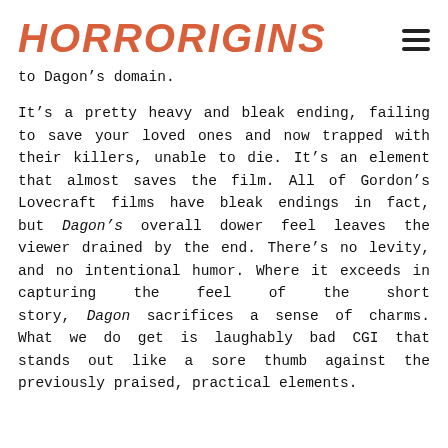HorrOrigins
to Dagon’s domain.
It’s a pretty heavy and bleak ending, failing to save your loved ones and now trapped with their killers, unable to die. It’s an element that almost saves the film. All of Gordon’s Lovecraft films have bleak endings in fact, but Dagon’s overall dower feel leaves the viewer drained by the end. There’s no levity, and no intentional humor. Where it exceeds in capturing the feel of the short story, Dagon sacrifices a sense of charms. What we do get is laughably bad CGI that stands out like a sore thumb against the previously praised, practical elements.